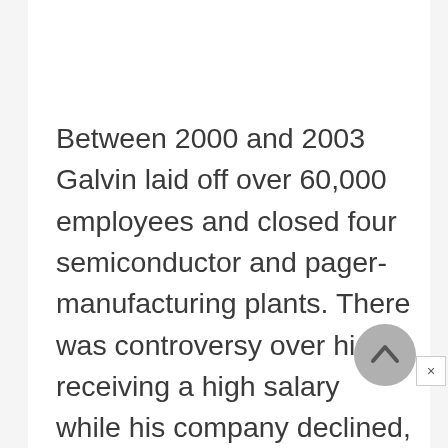Between 2000 and 2003 Galvin laid off over 60,000 employees and closed four semiconductor and pager-manufacturing plants. There was controversy over his receiving a high salary while his company declined, as he was paid over $11 million in 2002. By 2001 Motorola held only 14 percent of the wireless phone market. In May of that year Motorola's stock fell to $4.5...